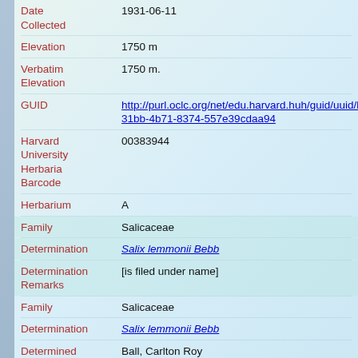| Field | Value |
| --- | --- |
| Date Collected | 1931-06-11 |
| Elevation | 1750 m |
| Verbatim Elevation | 1750 m. |
| GUID | http://purl.oclc.org/net/edu.harvard.huh/guid/uuid/b4f31bb-4b71-8374-557e39cdaa94 |
| Harvard University Herbaria Barcode | 00383944 |
| Herbarium | A |
| Family | Salicaceae |
| Determination | Salix lemmonii Bebb |
| Determination Remarks | [is filed under name] |
| Family | Salicaceae |
| Determination | Salix lemmonii Bebb |
| Determined by | Ball, Carlton Roy |
| Determination Remarks | [0] [is Current name] |
| Sex | not determined |